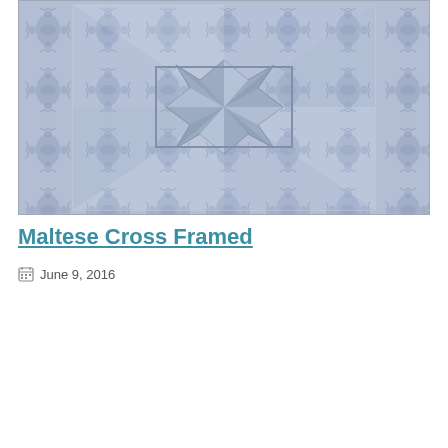[Figure (photo): A photograph of a blue and white floral damask fabric folded into a Maltese cross pattern with a square frame border. The fabric features intricate floral and leaf motifs in blue on a lighter blue-grey background.]
Maltese Cross Framed
June 9, 2016